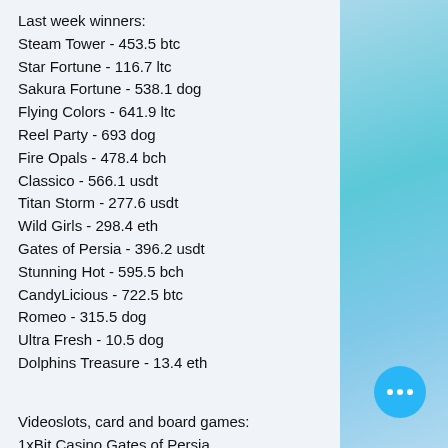Last week winners:
Steam Tower - 453.5 btc
Star Fortune - 116.7 ltc
Sakura Fortune - 538.1 dog
Flying Colors - 641.9 ltc
Reel Party - 693 dog
Fire Opals - 478.4 bch
Classico - 566.1 usdt
Titan Storm - 277.6 usdt
Wild Girls - 298.4 eth
Gates of Persia - 396.2 usdt
Stunning Hot - 595.5 bch
CandyLicious - 722.5 btc
Romeo - 315.5 dog
Ultra Fresh - 10.5 dog
Dolphins Treasure - 13.4 eth
Videoslots, card and board games:
1xBit Casino Gates of Persia
OneHash Wild Safari